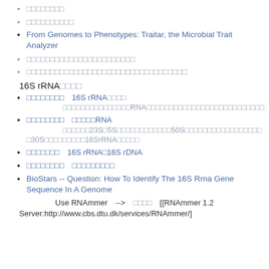□□□□□□□□
□□□□□□□□□□
From Genomes to Phenotypes: Traitar, the Microbial Trait Analyzer
□□□□□□□□□□□□□□□□□□□□□□□
□□□□□□□□□□□□□□□□□□□□□□□□□□□□□□□□□□
16S rRNA□□□□
□□□□□□□□　16S rRNA□□□□
□□□□□□□□□□□□□□□RNA□□□□□□□□□□□□□□□□□□□□□□□□□□
□□□□□□□□　□□□□□RNA
□□□□□□23S□5S□□□□□□□□□□□□50S□□□□□□□□□□□□□□□□□
□30S□□□□□□□□□16SrRNA□□□□□
□□□□□□□　16S rRNA□16S rDNA
□□□□□□□□　□□□□□□□□□
BioStars -- Question: How To Identify The 16S Rrna Gene Sequence In A Genome
Use RNAmmer　-->　□□□□　[[RNAmmer 1.2 Server:http://www.cbs.dtu.dk/services/RNAmmer/]